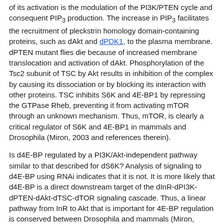of its activation is the modulation of the PI3K/PTEN cycle and consequent PIP3 production. The increase in PIP3 facilitates the recruitment of pleckstrin homology domain-containing proteins, such as dAkt and dPDK1, to the plasma membrane. dPTEN mutant flies die because of increased membrane translocation and activation of dAkt. Phosphorylation of the Tsc2 subunit of TSC by Akt results in inhibition of the complex by causing its dissociation or by blocking its interaction with other proteins. TSC inhibits S6K and 4E-BP1 by repressing the GTPase Rheb, preventing it from activating mTOR through an unknown mechanism. Thus, mTOR, is clearly a critical regulator of S6K and 4E-BP1 in mammals and Drosophila (Miron, 2003 and references therein).
Is d4E-BP regulated by a PI3K/Akt-independent pathway similar to that described for dS6K? Analysis of signaling to d4E-BP using RNAi indicates that it is not. It is more likely that d4E-BP is a direct downstream target of the dInR-dPI3K-dPTEN-dAkt-dTSC-dTOR signaling cascade. Thus, a linear pathway from InR to Akt that is important for 4E-BP regulation is conserved between Drosophila and mammals (Miron, 2003)
dPDK1 is critical for regulating growth by phosphorylating dAkt and dS6K. RNAi of dPDK1 does not significantly...